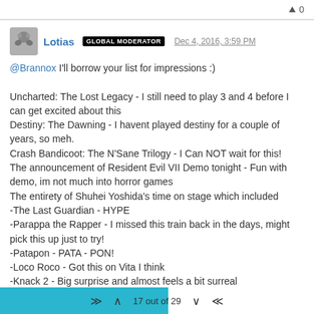▲ 0
Lotias GLOBAL MODERATOR Dec 4, 2016, 3:59 PM
@Brannox I'll borrow your list for impressions :)

Uncharted: The Lost Legacy - I still need to play 3 and 4 before I can get excited about this
Destiny: The Dawning - I havent played destiny for a couple of years, so meh.
Crash Bandicoot: The N'Sane Trilogy - I Can NOT wait for this!
The announcement of Resident Evil VII Demo tonight - Fun with demo, im not much into horror games
The entirety of Shuhei Yoshida's time on stage which included
-The Last Guardian - HYPE
-Parappa the Rapper - I missed this train back in the days, might pick this up just to try!
-Patapon - PATA - PON!
-Loco Roco - Got this on Vita I think
-Knack 2 - Big surprise and almost feels a bit surreal
Gravity Rush 2 - Meh
17 out of 29